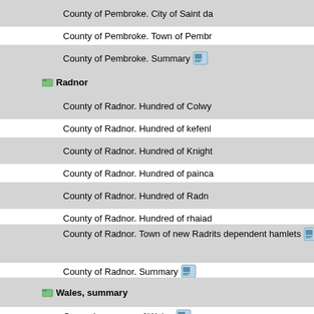County of Pembroke. City of Saint da...
County of Pembroke. Town of Pembr...
County of Pembroke. Summary
Radnor
County of Radnor. Hundred of Colwy...
County of Radnor. Hundred of kefenl...
County of Radnor. Hundred of Knight...
County of Radnor. Hundred of painca...
County of Radnor. Hundred of Radn...
County of Radnor. Hundred of rhaiad...
County of Radnor. Town of new Radr... its dependent hamlets
County of Radnor. Summary
Wales, summary
General summary of Wales
Appendix. Cities of London and Westminster, &c...